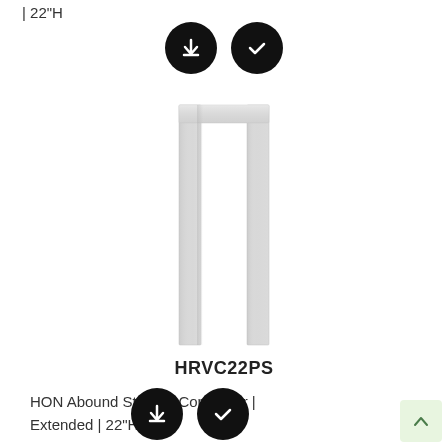| 22"H
[Figure (illustration): Two black circular buttons: a download button (arrow down) and a checkmark/confirm button, shown at top of page]
[Figure (photo): Product photo of HON Abound Straight Connector - a tall narrow U-shaped white/light gray metal connector piece, extended version, 22 inches high]
HRVC22PS
HON Abound Straight Connector | Extended | 22"H
[Figure (illustration): Two black circular buttons: a download button (arrow down) and a checkmark/confirm button, shown at bottom of page]